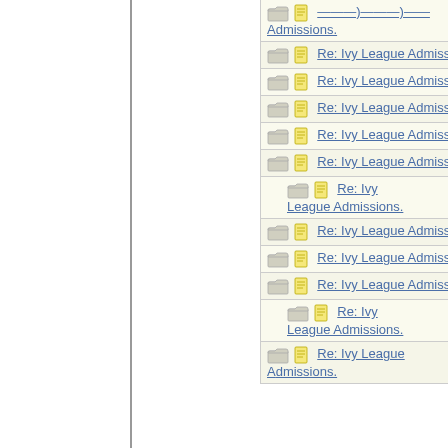| Subject | Author |
| --- | --- |
| Re: Ivy League Admissions. | Wren |
| Re: Ivy League Admissions. | Wren |
| Re: Ivy League Admissions. | Bostonia |
| Re: Ivy League Admissions. | Wren |
| Re: Ivy League Admissions. | Bostonia |
| Re: Ivy League Admissions. | indigo |
| Re: Ivy League Admissions. | Wren |
| Re: Ivy League Admissions. | Bostonia |
| Re: Ivy League Admissions. | Wren |
| Re: Ivy League Admissions. | indigo |
| Re: Ivy League Admissions. | Wren |